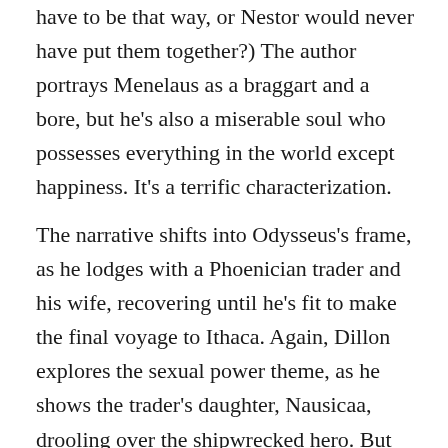have to be that way, or Nestor would never have put them together?) The author portrays Menelaus as a braggart and a bore, but he's also a miserable soul who possesses everything in the world except happiness. It's a terrific characterization.
The narrative shifts into Odysseus's frame, as he lodges with a Phoenician trader and his wife, recovering until he's fit to make the final voyage to Ithaca. Again, Dillon explores the sexual power theme, as he shows the trader's daughter, Nausicaa, drooling over the shipwrecked hero. But the others react very differently, and though they feel the draw of Odysseus's words when he tells of his travels and wars, they privately reserve judgment. Is it possible that he's lying about details or even